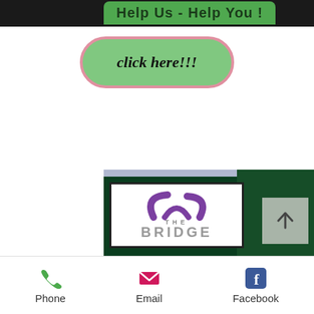[Figure (screenshot): Top dark banner with green pill label reading 'Help Us - Help You !' partially visible]
click here!!!
[Figure (screenshot): The Bridge charity logo and 'Changing Cayman one life at a time' promotional image on dark green background]
Phone  Email  Facebook